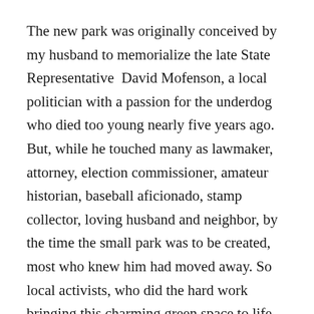The new park was originally conceived by my husband to memorialize the late State Representative  David Mofenson, a local politician with a passion for the underdog who died too young nearly five years ago. But, while he touched many as lawmaker, attorney, election commissioner, amateur historian, baseball aficionado, stamp collector, loving husband and neighbor, by the time the small park was to be created, most who knew him had moved away. So local activists, who did the hard work bringing this charming green space to life, decided to name the new park “Waban Common,” and a bench will bear Mofenson’s name.